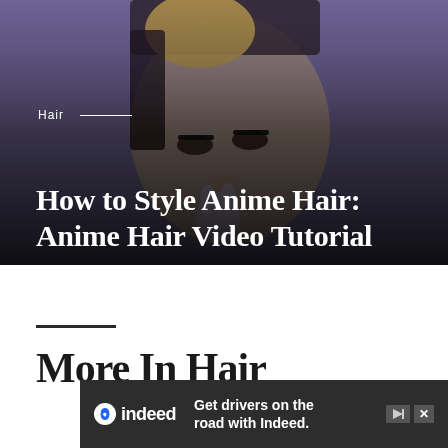[Figure (photo): Young woman with anime-style hair (blonde and dark), large eyes with dramatic makeup, holding something near her face, purple/blue background with dark gradient overlay at bottom]
Hair ——
How to Style Anime Hair: Anime Hair Video Tutorial
More In Hair
[Figure (other): Indeed advertisement banner: 'Get drivers on the road with Indeed.' with Indeed logo on dark background]